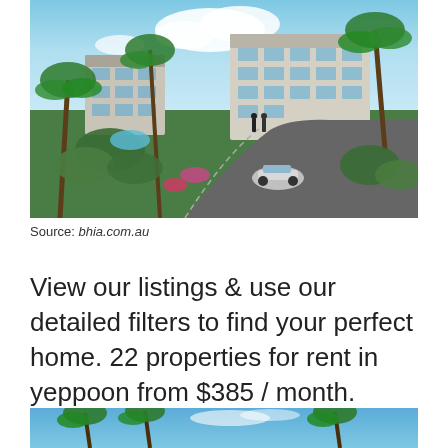[Figure (photo): Aerial/elevated rendering of a modern tropical apartment complex with palm trees, lush landscaping, swimming pool, driveway with car, and multi-storey buildings with balconies under a blue sky.]
Source: bhia.com.au
View our listings & use our detailed filters to find your perfect home. 22 properties for rent in yeppoon from $385 / month.
[Figure (photo): Partial view of a tropical property with palm trees against a blue sky.]